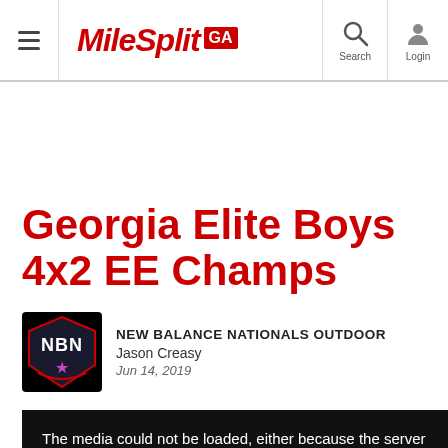MileSplit GA — Search — Login
Georgia Elite Boys 4x2 EE Champs
NEW BALANCE NATIONALS OUTDOOR
Jason Creasy
Jun 14, 2019
[Figure (screenshot): Black media player bar with error message: The media could not be loaded, either because the server]